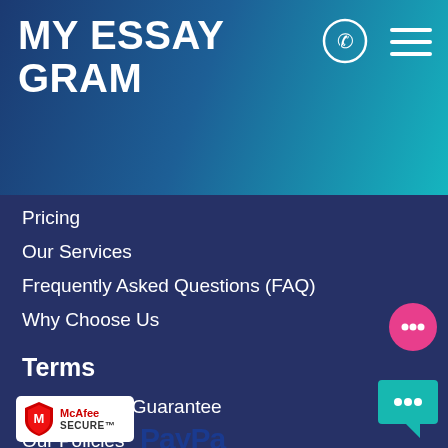MY ESSAY GRAM
Pricing
Our Services
Frequently Asked Questions (FAQ)
Why Choose Us
Terms
Money Back Guarantee
Our Policies
We accept
[Figure (logo): McAfee SECURE badge with red shield logo]